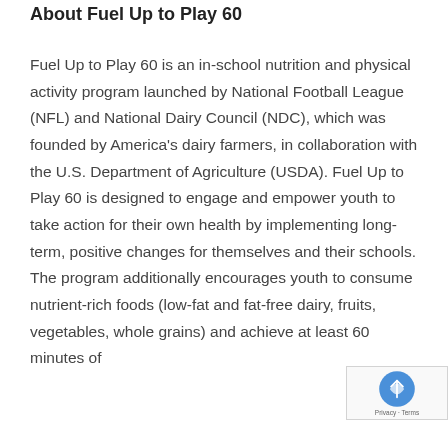About Fuel Up to Play 60
Fuel Up to Play 60 is an in-school nutrition and physical activity program launched by National Football League (NFL) and National Dairy Council (NDC), which was founded by America's dairy farmers, in collaboration with the U.S. Department of Agriculture (USDA). Fuel Up to Play 60 is designed to engage and empower youth to take action for their own health by implementing long-term, positive changes for themselves and their schools. The program additionally encourages youth to consume nutrient-rich foods (low-fat and fat-free dairy, fruits, vegetables, whole grains) and achieve at least 60 minutes of